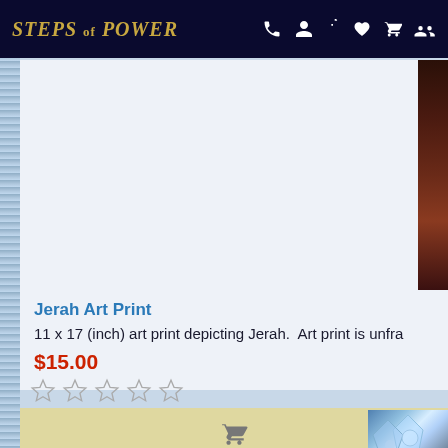STEPS of POWER — navigation bar with phone, account, wishlist, cart, share icons
[Figure (screenshot): Dark brown/maroon art print thumbnail on right edge of product card]
Jerah Art Print
11 x 17 (inch) art print depicting Jerah.  Art print is unfra
$15.00
[Figure (other): Five empty star rating icons (no fill)]
[Figure (other): Add to cart bar with shopping cart icon]
[Figure (illustration): Second product card partially visible at bottom with crystal/ice art thumbnail]